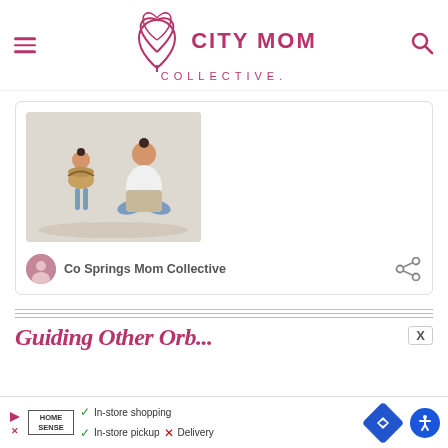[Figure (logo): City Mom Collective logo with tulip/lotus flower icon in pink/magenta and text 'CITY MOM COLLECTIVE']
[Figure (photo): Photo of a mother sitting cross-legged on the floor holding folded blankets, looking at a young girl standing and holding a wicker basket, in a bright room]
Co Springs Mom Collective
Guiding Other Orb...
[Figure (screenshot): Advertisement bar for Home Sense showing In-store shopping (checkmark), In-store pickup (checkmark), Delivery (X), with navigation icon and accessibility button]